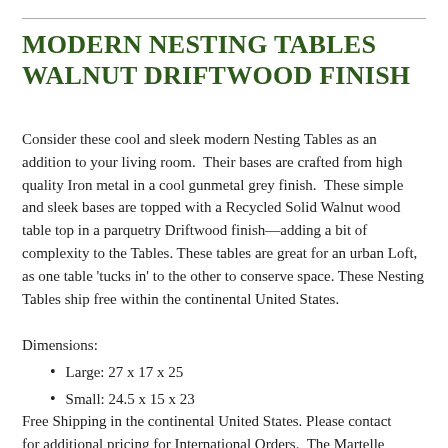MODERN NESTING TABLES WALNUT DRIFTWOOD FINISH
Consider these cool and sleek modern Nesting Tables as an addition to your living room.  Their bases are crafted from high quality Iron metal in a cool gunmetal grey finish.  These simple and sleek bases are topped with a Recycled Solid Walnut wood table top in a parquetry Driftwood finish—adding a bit of complexity to the Tables. These tables are great for an urban Loft, as one table 'tucks in' to the other to conserve space. These Nesting Tables ship free within the continental United States.
Dimensions:
Large: 27 x 17 x 25
Small: 24.5 x 15 x 23
Free Shipping in the continental United States. Please contact for additional pricing for International Orders.  The Martelle